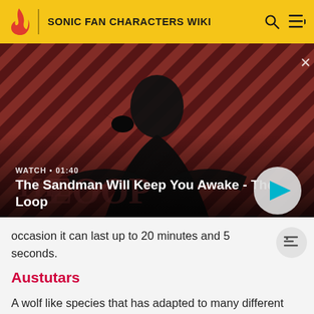SONIC FAN CHARACTERS WIKI
[Figure (screenshot): Video thumbnail showing a dark-cloaked figure with a raven on shoulder against a red diagonal striped background. Text overlay reads: WATCH • 01:40 / The Sandman Will Keep You Awake - The Loop. Play button on the right.]
occasion it can last up to 20 minutes and 5 seconds.
Austutars
A wolf like species that has adapted to many different areas and comes in a big variety.